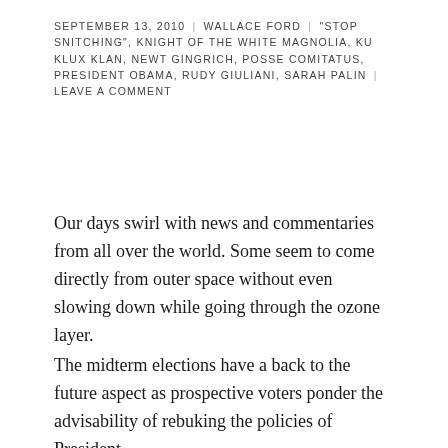SEPTEMBER 13, 2010 | WALLACE FORD | "STOP SNITCHING", KNIGHT OF THE WHITE MAGNOLIA, KU KLUX KLAN, NEWT GINGRICH, POSSE COMITATUS, PRESIDENT OBAMA, RUDY GIULIANI, SARAH PALIN | LEAVE A COMMENT
Our days swirl with news and commentaries from all over the world. Some seem to come directly from outer space without even slowing down while going through the ozone layer.
The midterm elections have a back to the future aspect as prospective voters ponder the advisability of rebuking the policies of President